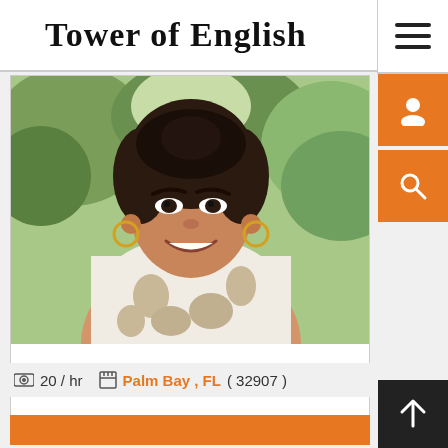Tower of English
[Figure (photo): A smiling woman with dark hair in an updo, wearing a white floral lace top and gold choker necklace with hoop earrings. She is photographed outdoors with green trees in the background.]
20 / hr    Palm Bay , FL ( 32907 )